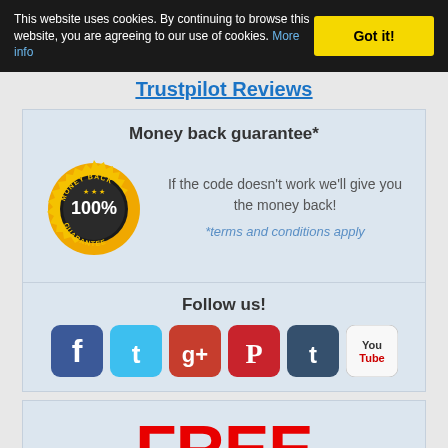This website uses cookies. By continuing to browse this website, you are agreeing to our use of cookies. More info | Got it!
Trustpilot Reviews
Money back guarantee*
[Figure (illustration): Gold circular badge with '100% MONEY BACK GUARANTEE' text and star decorations]
If the code doesn't work we'll give you the money back!
*terms and conditions apply
Follow us!
[Figure (infographic): Social media icons: Facebook, Twitter, Google+, Pinterest, Tumblr, YouTube]
FREE
unlock codes